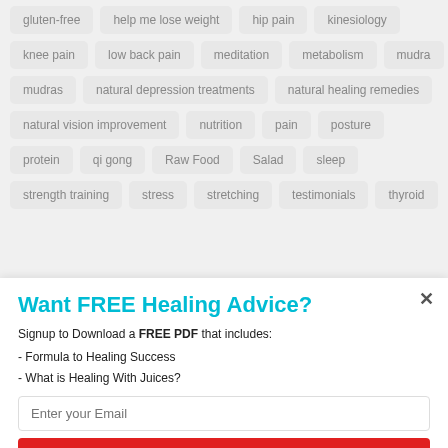gluten-free
help me lose weight
hip pain
kinesiology
knee pain
low back pain
meditation
metabolism
mudra
mudras
natural depression treatments
natural healing remedies
natural vision improvement
nutrition
pain
posture
protein
qi gong
Raw Food
Salad
sleep
strength training
stress
stretching
testimonials
thyroid
Want FREE Healing Advice?
Signup to Download a FREE PDF that includes:
- Formula to Healing Success
- What is Healing With Juices?